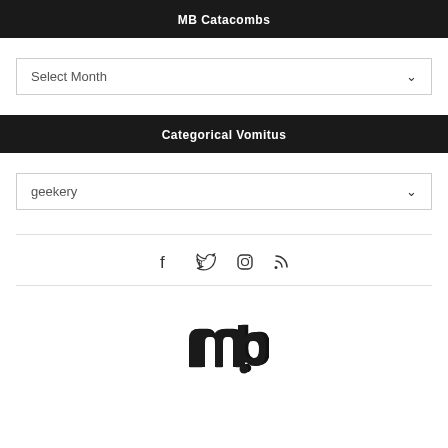MB Catacombs
Select Month
Categorical Vomitus
geekery
[Figure (infographic): Social media icons: Facebook, Twitter, Instagram, RSS feed]
[Figure (logo): MB logo - stylized 'mb' letters with a dot, black outline circular badge]